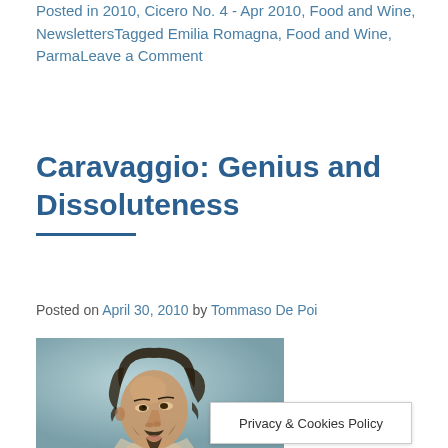Posted in 2010, Cicero No. 4 - Apr 2010, Food and Wine, NewslettersTagged Emilia Romagna, Food and Wine, ParmaLeave a Comment
Caravaggio: Genius and Dissoluteness
Posted on April 30, 2010 by Tommaso De Poi
[Figure (photo): Pencil or chalk portrait sketch of Caravaggio, showing the face and upper body of a man with curly dark hair, mustache and goatee, looking sideways, rendered in a blue-green toned background.]
Privacy & Cookies Policy